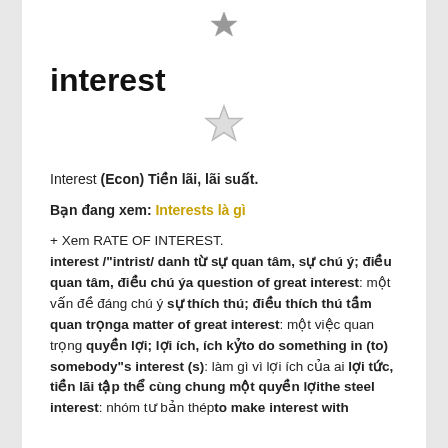[Figure (other): Filled star icon at top center, grey/dark color]
interest
[Figure (other): Outline star icon, light grey color]
Interest (Econ) Tiền lãi, lãi suất.
Bạn đang xem: Interests là gì
+ Xem RATE OF INTEREST.
interest /"intrist/ danh từ sự quan tâm, sự chú ý; điều quan tâm, điều chú ýa question of great interest: một vấn đề đáng chú ý sự thích thú; điều thích thú tầm quan trọnga matter of great interest: một việc quan trọng quyền lợi; lợi ích, ích kỷto do something in (to) somebody"s interest (s): làm gì vì lợi ích của ai lợi tức, tiền lãi tập thể cùng chung một quyền lợithe steel interest: nhóm tư bản thépto make interest with